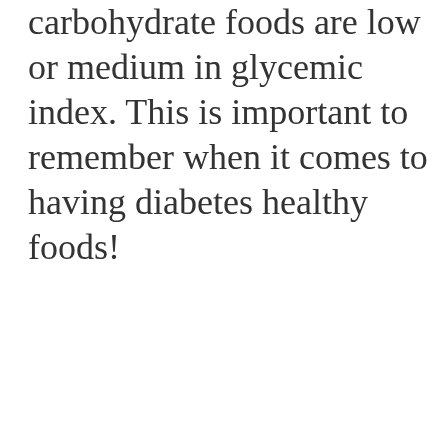carbohydrate foods are low or medium in glycemic index. This is important to remember when it comes to having diabetes healthy foods!